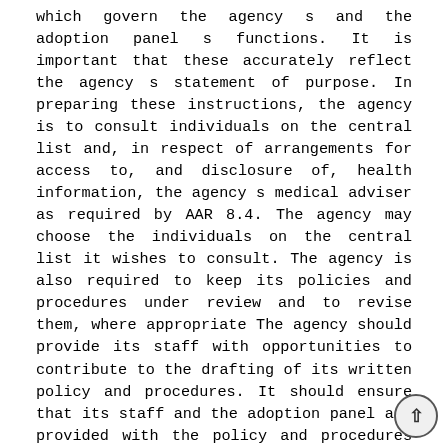which govern the agency s and the adoption panel s functions. It is important that these accurately reflect the agency s statement of purpose. In preparing these instructions, the agency is to consult individuals on the central list and, in respect of arrangements for access to, and disclosure of, health information, the agency s medical adviser as required by AAR 8.4. The agency may choose the individuals on the central list it wishes to consult. The agency is also required to keep its policies and procedures under review and to revise them, where appropriate The agency should provide its staff with opportunities to contribute to the drafting of its written policy and procedures. It should ensure that its staff and the adoption panel are provided with the policy and procedures documents that govern their responsibilities It is recommended that the policy and procedures document include: details of recruitment, induction, training and performance review of those individuals on the central list; a signed agreement which sets out the mutual commitments of those individuals on the central list and the agency; arrangements for informing the prospective adopter, the birth parents and, where appropriate, the child of the panel s recommendations; details of how a